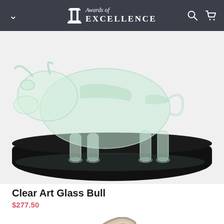Awards of EXCELLENCE
[Figure (photo): A clear art glass bull sculpture with green tint accents, mounted on a black oval base. The photo shows the bull from the side/front, cropped to show the body and base.]
Clear Art Glass Bull
$277.50
[Figure (photo): Partial view of a second product — a curved metallic/bronze horn or curved sculpture piece, cropped at the bottom of the page.]